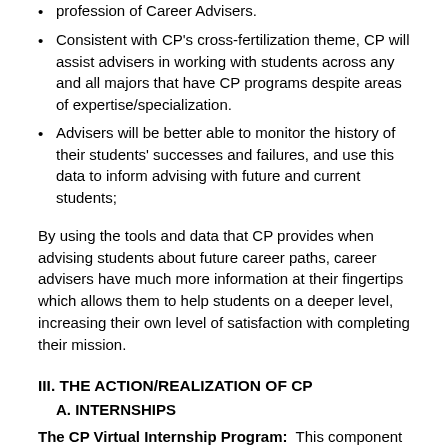profession of Career Advisers.
Consistent with CP's cross-fertilization theme, CP will assist advisers in working with students across any and all majors that have CP programs despite areas of expertise/specialization.
Advisers will be better able to monitor the history of their students' successes and failures, and use this data to inform advising with future and current students;
By using the tools and data that CP provides when advising students about future career paths, career advisers have much more information at their fingertips which allows them to help students on a deeper level, increasing their own level of satisfaction with completing their mission.
III. THE ACTION/REALIZATION OF CP
A. INTERNSHIPS
The CP Virtual Internship Program:  This component was developed and continues to develop in partnership between various academic institutions and the company, iQ4.  As stated, courses found within this component utilize a